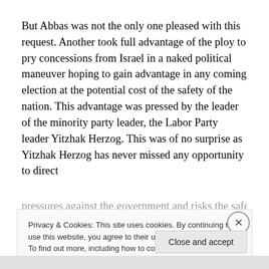But Abbas was not the only one pleased with this request. Another took full advantage of the ploy to pry concessions from Israel in a naked political maneuver hoping to gain advantage in any coming election at the potential cost of the safety of the nation. This advantage was pressed by the leader of the minority party leader, the Labor Party leader Yitzhak Herzog. This was of no surprise as Yitzhak Herzog has never missed any opportunity to direct pressures against the government and risks the safety of
Privacy & Cookies: This site uses cookies. By continuing to use this website, you agree to their use.
To find out more, including how to control cookies, see here: Cookie Policy
Close and accept